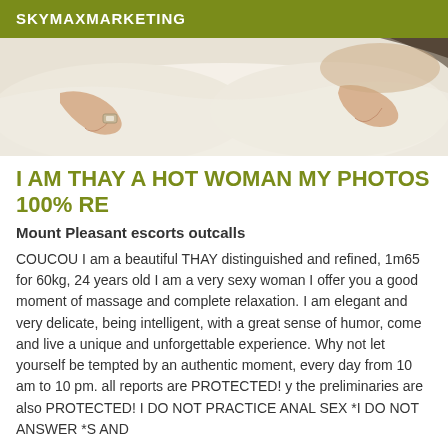SKYMAXMARKETING
[Figure (photo): Photo of a woman lying on a white bed, hands visible with a watch on one wrist, white sheets/pillows]
I AM THAY A HOT WOMAN MY PHOTOS 100% RE
Mount Pleasant escorts outcalls
COUCOU I am a beautiful THAY distinguished and refined, 1m65 for 60kg, 24 years old I am a very sexy woman I offer you a good moment of massage and complete relaxation. I am elegant and very delicate, being intelligent, with a great sense of humor, come and live a unique and unforgettable experience. Why not let yourself be tempted by an authentic moment, every day from 10 am to 10 pm. all reports are PROTECTED! y the preliminaries are also PROTECTED! I DO NOT PRACTICE ANAL SEX *I DO NOT ANSWER *S AND